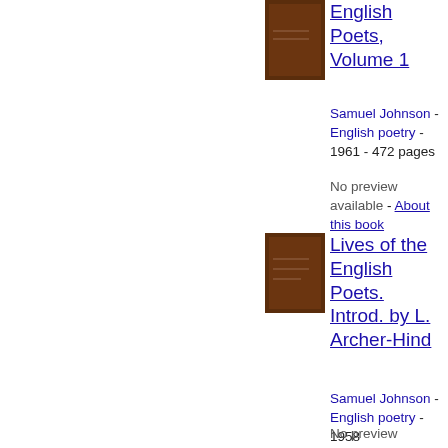[Figure (illustration): Brown book cover thumbnail for Lives of the English Poets, Volume 1]
English Poets, Volume 1
Samuel Johnson - English poetry - 1961 - 472 pages
No preview available - About this book
[Figure (illustration): Brown book cover thumbnail for Lives of the English Poets. Introd. by L. Archer-Hind]
Lives of the English Poets. Introd. by L. Archer-Hind
Samuel Johnson - English poetry - 1958
No preview available -